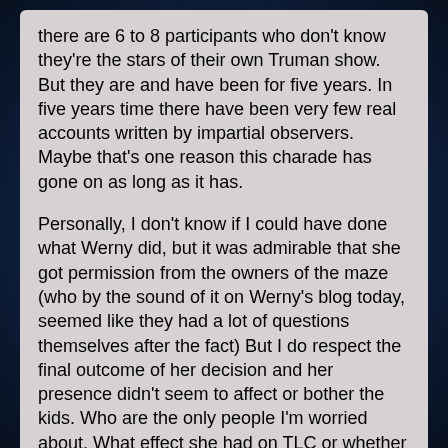there are 6 to 8 participants who don't know they're the stars of their own Truman show. But they are and have been for five years. In five years time there have been very few real accounts written by impartial observers. Maybe that's one reason this charade has gone on as long as it has.
Personally, I don't know if I could have done what Werny did, but it was admirable that she got permission from the owners of the maze (who by the sound of it on Werny's blog today, seemed like they had a lot of questions themselves after the fact) But I do respect the final outcome of her decision and her presence didn't seem to affect or bother the kids. Who are the only people I'm worried about. What effect she had on TLC or whether TLC invited her to come or whether Steve blessed her presence at the field is irrelevant to me.
I don't see anything wrong with watching a filming in progress. Even in this case. Because there are seriously so many people involved with any kind of movie or tv show production that onlookers make